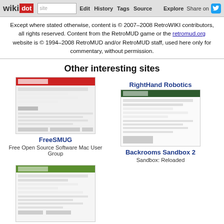wikidot | site Edit History Tags Source Explore Share on [Twitter]
Except where stated otherwise, content is © 2007–2008 RetroWIKI contributors, all rights reserved. Content from the RetroMUD game or the retromud.org website is © 1994–2008 RetroMUD and/or RetroMUD staff, used here only for commentary, without permission.
Other interesting sites
[Figure (screenshot): Thumbnail screenshot of FreeSMUG website]
FreeSMUG
Free Open Source Software Mac User Group
RightHand Robotics
[Figure (screenshot): Thumbnail screenshot of Backrooms Sandbox 2 website]
Backrooms Sandbox 2
Sandbox: Reloaded
[Figure (screenshot): Thumbnail screenshot of Procedural Content Generation Wiki]
Procedural Content Generation Wiki